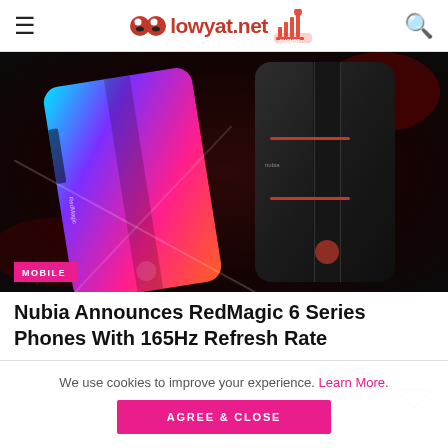lowyat.net
[Figure (photo): Two Nubia RedMagic 6 gaming smartphones side by side — one colorful cyan/pink/purple gradient, one dark black — on a dark dramatic background with red crystal debris. A MOBILE badge is overlaid at bottom left.]
Nubia Announces RedMagic 6 Series Phones With 165Hz Refresh Rate
We use cookies to improve your experience. Learn More.
AGREE & CLOSE